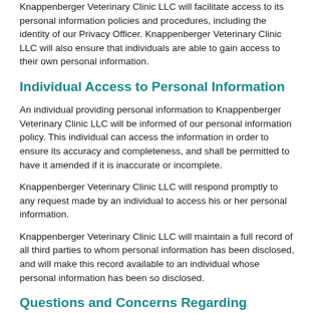Knappenberger Veterinary Clinic LLC will facilitate access to its personal information policies and procedures, including the identity of our Privacy Officer. Knappenberger Veterinary Clinic LLC will also ensure that individuals are able to gain access to their own personal information.
Individual Access to Personal Information
An individual providing personal information to Knappenberger Veterinary Clinic LLC will be informed of our personal information policy. This individual can access the information in order to ensure its accuracy and completeness, and shall be permitted to have it amended if it is inaccurate or incomplete.
Knappenberger Veterinary Clinic LLC will respond promptly to any request made by an individual to access his or her personal information.
Knappenberger Veterinary Clinic LLC will maintain a full record of all third parties to whom personal information has been disclosed, and will make this record available to an individual whose personal information has been so disclosed.
Questions and Concerns Regarding Compliance with the Policy
An individual providing personal information to Knappenberger Veterinary Clinic LLC can address any questions or complaints to the Privacy